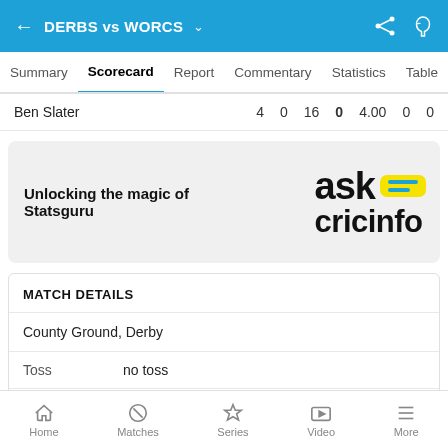DERBS vs WORCS
Summary  Scorecard  Report  Commentary  Statistics  Table
| Player | Col1 | Col2 | Col3 | Col4 | Col5 | Col6 | Col7 |
| --- | --- | --- | --- | --- | --- | --- | --- |
| Ben Slater | 4 | 0 | 16 | 0 | 4.00 | 0 | 0 |
[Figure (logo): Ask Cricinfo logo with yellow speech bubble and blue lines]
Unlocking the magic of Statsguru
MATCH DETAILS
County Ground, Derby
Toss: no toss
Series: Specsavers County Championship Division Two
Home  Matches  Series  Video  More